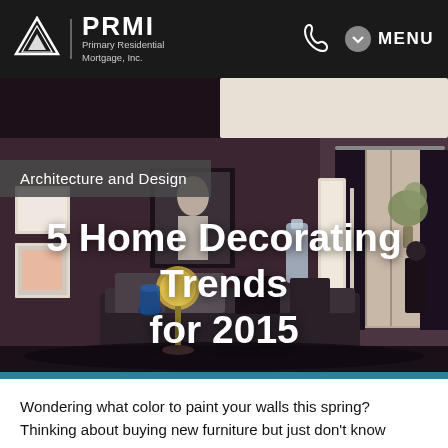PRMI | Primary Residential Mortgage, Inc.
[Figure (photo): Interior room photo showing a dark-walled living room with curtains, artwork, lamp, and furniture in a modern style]
Architecture and Design
5 Home Decorating Trends for 2015
Wondering what color to paint your walls this spring? Thinking about buying new furniture but just don't know where to start? Whether you're updating a room or starting a total make-over of your new house, it's important to make decisions that you'll love and you'll be proud to show off to home visitors.
Keeping your design up to date can be difficult to pin…